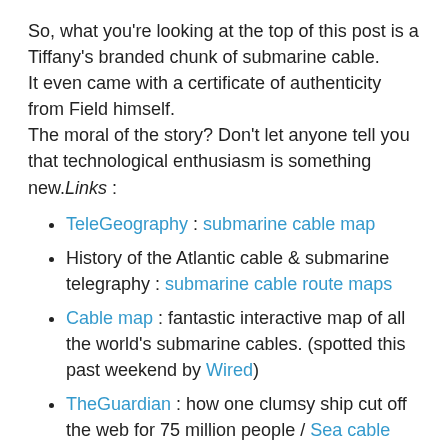So, what you're looking at the top of this post is a Tiffany's branded chunk of submarine cable.
It even came with a certificate of authenticity from Field himself.
The moral of the story? Don't let anyone tell you that technological enthusiasm is something new.Links :
TeleGeography : submarine cable map
History of the Atlantic cable & submarine telegraphy : submarine cable route maps
Cable map : fantastic interactive map of all the world's submarine cables. (spotted this past weekend by Wired)
TheGuardian : how one clumsy ship cut off the web for 75 million people / Sea cable map
Youtube : underwater cable laying
Wired : mother earth mother board
Wikipedia : list of international submarine communication cables